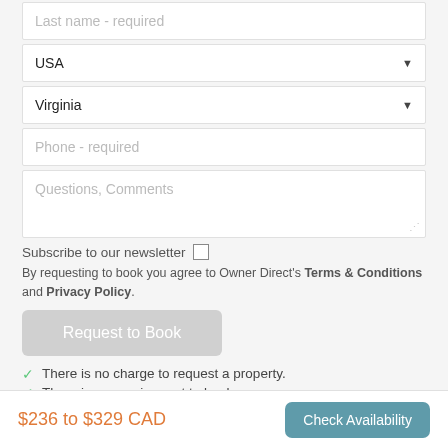Last name - required
USA
Virginia
Phone - required
Questions, Comments
Subscribe to our newsletter
By requesting to book you agree to Owner Direct's Terms & Conditions and Privacy Policy.
Request to Book
There is no charge to request a property.
There is no requirement to book.
$236 to $329 CAD
Check Availability